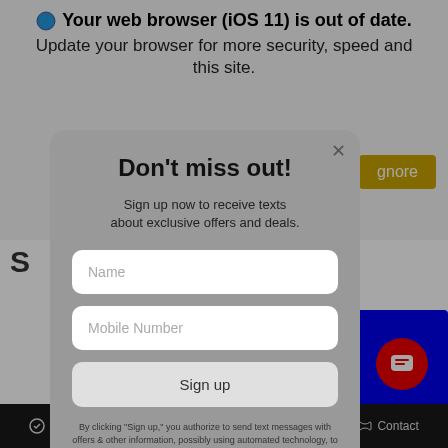[Figure (screenshot): Browser out-of-date warning banner showing '🌐 Your web browser (iOS 11) is out of date. Update your browser for more security, speed and this site.' with an Ignore button, and a background webpage showing a blue rectangle, credit score text, Capital One card, and mobile navigation bar.]
Don't miss out!
Sign up now to receive texts about exclusive offers and deals.
Name
Mobile Number
Sign up
By clicking "Sign up," you authorize to send text messages with offers & other information, possibly using automated technology, to the number you provided. Message/data rates apply. Consent is not condition of purchase.
Filter   Saved   Share   Contact